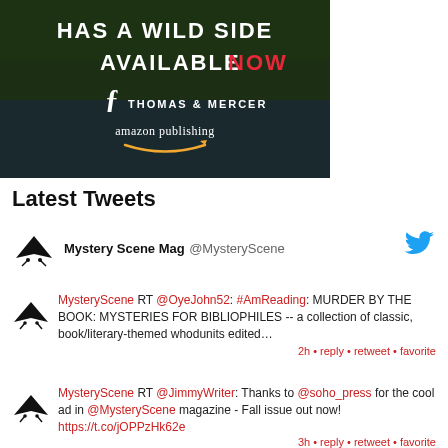[Figure (illustration): Dark green/black advertisement banner for Thomas & Mercer Amazon Publishing. Text reads 'HAS A WILD SIDE AVAILABLE NOW' in white and red, with Thomas & Mercer logo and amazon publishing logo.]
Latest Tweets
Mystery Scene Mag @MysteryScene
MysteryScene RT @OyeJohn52: #AmReading: MURDER BY THE BOOK: MYSTERIES FOR BIBLIOPHILES -- a collection of classic, book/literary-themed whodunits edited… 2h • reply • retweet • favorite
MysteryScene RT @JimmyWriter: Thanks to @soho_press for the cool ad in @MysteryScene magazine - Fall issue out now! https://t.co/jOPPzHk62e 3h • reply • retweet • favorite